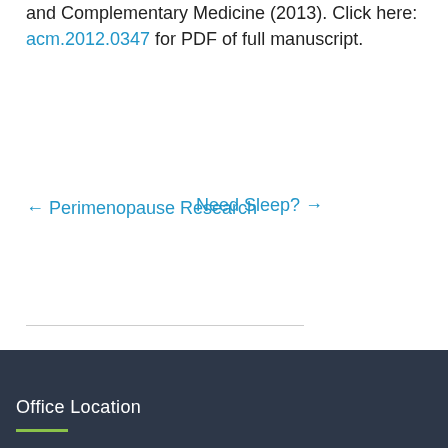and Complementary Medicine (2013). Click here: acm.2012.0347 for PDF of full manuscript.
← Perimenopause Research   Need Sleep? →
Office Location